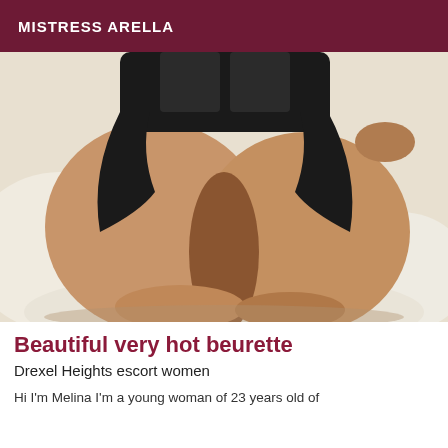MISTRESS ARELLA
[Figure (photo): A person wearing a black bodysuit lying on white bedding, photographed from behind.]
Beautiful very hot beurette
Drexel Heights escort women
Hi I'm Melina I'm a young woman of 23 years old of